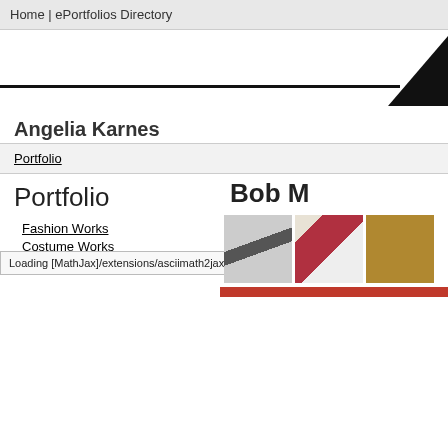Home | ePortfolios Directory
[Figure (logo): Decorative logo area with horizontal black line and diagonal arrow/mark at right edge]
Angelia Karnes
Portfolio
Portfolio
Bob M
Fashion Works
Costume Works
Product Works
[Figure (photo): Three thumbnail photos showing fashion/costume design work]
Loading [MathJax]/extensions/asciimath2jax.js